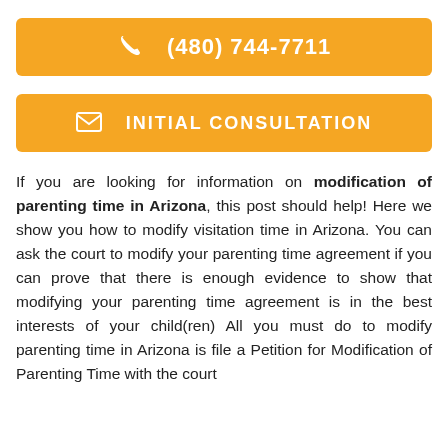[Figure (other): Orange button with phone icon and phone number (480) 744-7711]
[Figure (other): Orange button with envelope icon and text INITIAL CONSULTATION]
If you are looking for information on modification of parenting time in Arizona, this post should help! Here we show you how to modify visitation time in Arizona. You can ask the court to modify your parenting time agreement if you can prove that there is enough evidence to show that modifying your parenting time agreement is in the best interests of your child(ren) All you must do to modify parenting time in Arizona is file a Petition for Modification of Parenting Time with the court